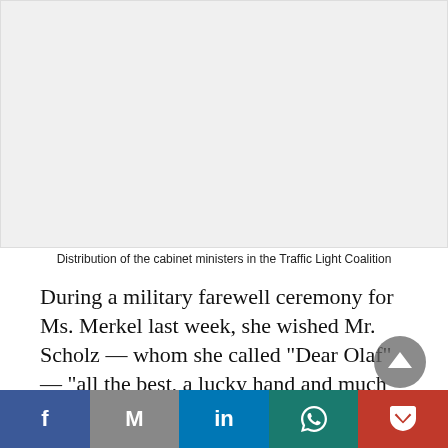[Figure (other): Image placeholder showing distribution of cabinet ministers in the Traffic Light Coalition]
Distribution of the cabinet ministers in the Traffic Light Coalition
During a military farewell ceremony for Ms. Merkel last week, she wished Mr. Scholz — whom she called “Dear Olaf” — “all the best, a lucky hand and much success.” He promptly replied with a compliment of his own on Twitter: “Angela Merkel was a successful chancellor,” he said. “She tirelessly stood up for her country and during 16